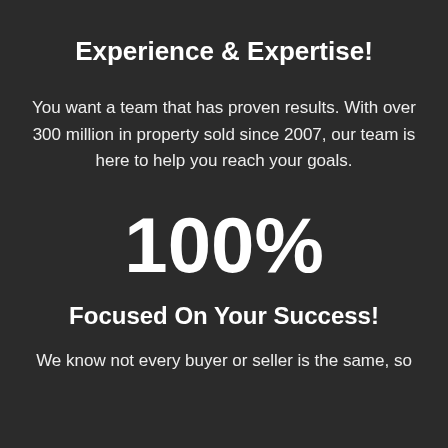Experience & Expertise!
You want a team that has proven results. With over 300 million in property sold since 2007, our team is here to help you reach your goals.
100%
Focused On Your Success!
We know not every buyer or seller is the same, so